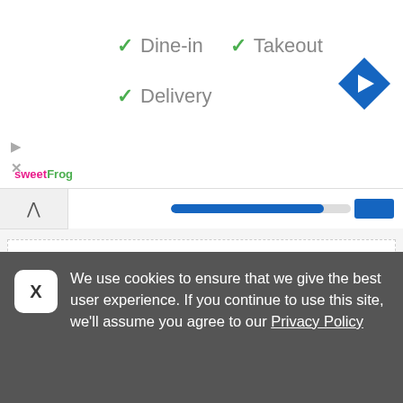[Figure (screenshot): sweetFrog logo in pink and green text]
✓ Dine-in  ✓ Takeout
✓ Delivery
[Figure (logo): Blue diamond navigation/directions icon with white arrow]
[Figure (screenshot): Collapsed panel with up chevron and progress bar]
Share   0 times used
[Figure (photo): Love Your Health Australia promo code image with blue diagonal banner]
We use cookies to ensure that we give the best user experience. If you continue to use this site, we'll assume you agree to our Privacy Policy